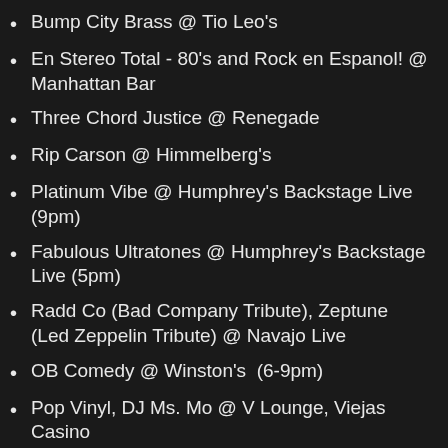Bump City Brass @ Tio Leo's
En Stereo Total - 80's and Rock en Espanol! @ Manhattan Bar
Three Chord Justice @ Renegade
Rip Carson @ Himmelberg's
Platinum Vibe @ Humphrey's Backstage Live (9pm)
Fabulous Ultratones @ Humphrey's Backstage Live (5pm)
Radd Co (Bad Company Tribute), Zeptune (Led Zeppelin Tribute) @ Navajo Live
OB Comedy @ Winston's  (6-9pm)
Pop Vinyl, DJ Ms. Mo @ V Lounge, Viejas Casino
Finesse, Dj Ms. Mo @ Lobby Bar, Viejas Casino
Booty Fest @ Spin
Totally Enormous Extinct Dinosaurs (DJ Set) @ B...